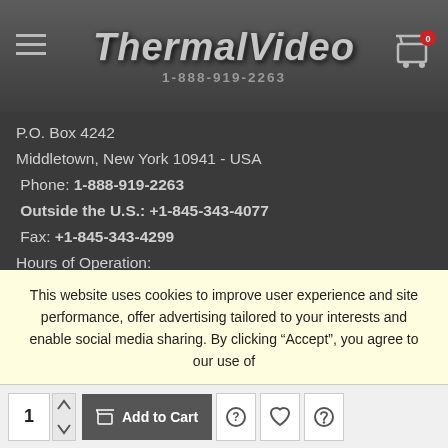ThermalVideo 1-888-919-2263
P.O. Box 4242
Middletown, New York 10941 - USA
Phone: 1-888-919-2263
Outside the U.S.: +1-845-343-4077
Fax: +1-845-343-4299
Hours of Operation:
Monday - Friday 9:00AM - 5:00PM EST
INFORMATION
NEWSLETTER SIGNUP
Get new product announcements, special offers & upcoming events
This website uses cookies to improve user experience and site performance, offer advertising tailored to your interests and enable social media sharing. By clicking “Accept”, you agree to our use of
1  Add to Cart